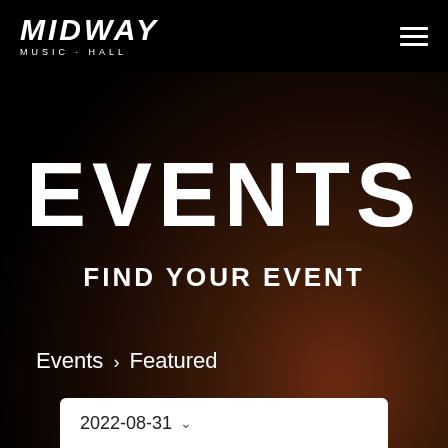MIDWAY MUSIC·HALL
EVENTS
FIND YOUR EVENT
Events › Featured
2022-08-31 ∨